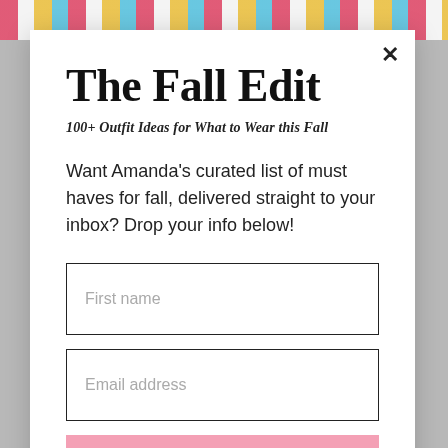[Figure (screenshot): Background image showing a blurred outdoor scene with colored stripes at the top]
The Fall Edit
100+ Outfit Ideas for What to Wear this Fall
Want Amanda's curated list of must haves for fall, delivered straight to your inbox? Drop your info below!
First name
Email address
YES, SIGN ME UP!